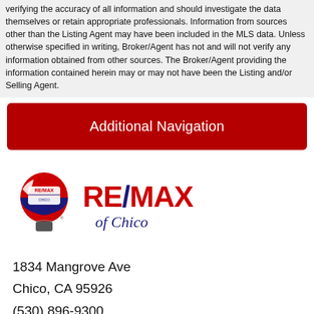verifying the accuracy of all information and should investigate the data themselves or retain appropriate professionals. Information from sources other than the Listing Agent may have been included in the MLS data. Unless otherwise specified in writing, Broker/Agent has not and will not verify any information obtained from other sources. The Broker/Agent providing the information contained herein may or may not have been the Listing and/or Selling Agent.
Additional Navigation
[Figure (logo): RE/MAX of Chico logo with hot air balloon icon and red RE/MAX text]
1834 Mangrove Ave
Chico, CA 95926
(530) 896-9300
DRE#01996441